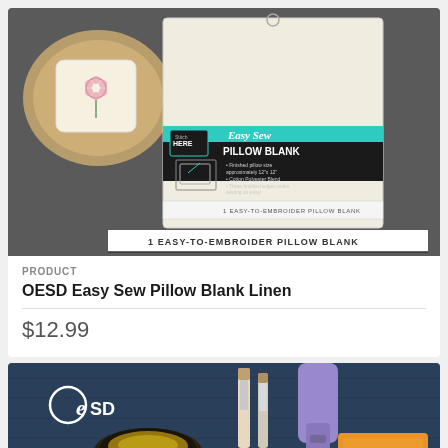[Figure (photo): Product photo of OESD Easy Sew Pillow Blank Linen packaging on a dark background, with a small embroidered pillow to the left. Package shows teal/white label reading 'Easy Sew PILLOW BLANK' with text '1 EASY-TO-EMBROIDER PILLOW BLANK'.]
PRODUCT
OESD Easy Sew Pillow Blank Linen
$12.99
[Figure (photo): Partial product photo showing OESD logo and crafting supplies on a dark blue wooden background including brushes, a purple tube, and orange sponge.]